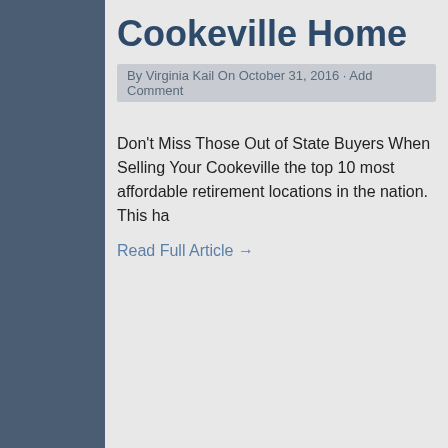Cookeville Home
By Virginia Kail On October 31, 2016 · Add Comment
Don't Miss Those Out of State Buyers When Selling Your Cookeville the top 10 most affordable retirement locations in the nation. This ha
Read Full Article →
2310 Lillian Circle Cooke
By Virginia Kail On October 23, 2016 · Add Comment